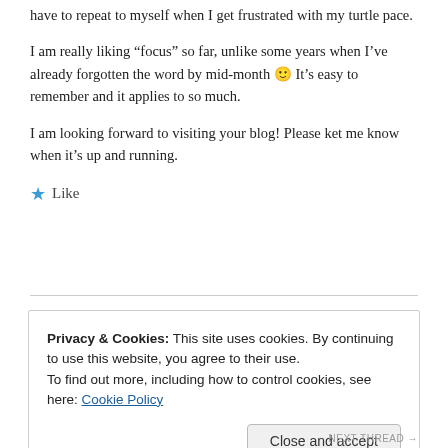have to repeat to myself when I get frustrated with my turtle pace.
I am really liking “focus” so far, unlike some years when I’ve already forgotten the word by mid-month 🙂 It’s easy to remember and it applies to so much.
I am looking forward to visiting your blog! Please ket me know when it’s up and running.
★ Like
Privacy & Cookies: This site uses cookies. By continuing to use this website, you agree to their use.
To find out more, including how to control cookies, see here: Cookie Policy
Close and accept